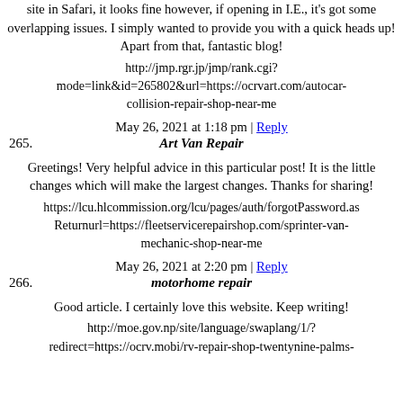site in Safari, it looks fine however, if opening in I.E., it's got some overlapping issues. I simply wanted to provide you with a quick heads up! Apart from that, fantastic blog!
http://jmp.rgr.jp/jmp/rank.cgi?mode=link&id=265802&url=https://ocrvart.com/autocar-collision-repair-shop-near-me
May 26, 2021 at 1:18 pm | Reply
265. Art Van Repair
Greetings! Very helpful advice in this particular post! It is the little changes which will make the largest changes. Thanks for sharing!
https://lcu.hlcommission.org/lcu/pages/auth/forgotPassword.as Returnurl=https://fleetservicerepairshop.com/sprinter-van-mechanic-shop-near-me
May 26, 2021 at 2:20 pm | Reply
266. motorhome repair
Good article. I certainly love this website. Keep writing!
http://moe.gov.np/site/language/swaplang/1/?redirect=https://ocrv.mobi/rv-repair-shop-twentynine-palms-